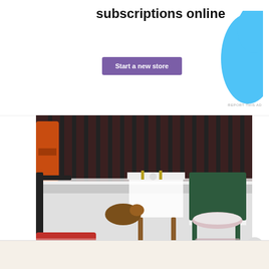[Figure (other): Top banner advertisement showing 'subscriptions online' text with purple 'Start a new store' button and blue blob shape on right]
[Figure (photo): Outdoor balcony or patio scene covered in snow, with a cat walking under a snow-covered table, a green plastic chair with a pink cushion covered in snow, various bags and items, and metal railings in background]
Advertisements
[Figure (other): Bottom banner advertisement: 'Professionally designed sites in less than a week' with WordPress logo]